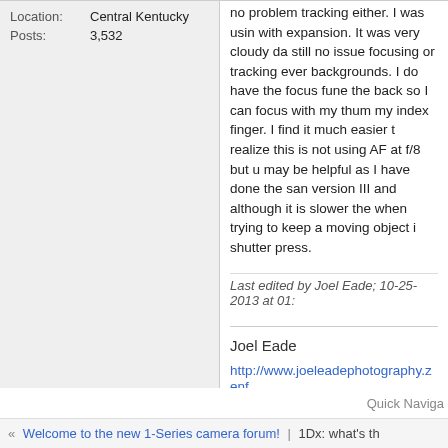Location: Central Kentucky
Posts: 3,532
no problem tracking either. I was using with expansion. It was very cloudy da still no issue focusing or tracking even backgrounds. I do have the focus fun the back so I can focus with my thumb my index finger. I find it much easier t realize this is not using AF at f/8 but u may be helpful as I have done the sa version III and although it is slower the when trying to keep a moving object i shutter press.
Last edited by Joel Eade; 10-25-2013 at 01:
Joel Eade
http://www.joeleadephotography.zenf
Quick Naviga
« Welcome to the new 1-Series camera forum! | 1Dx: what's th